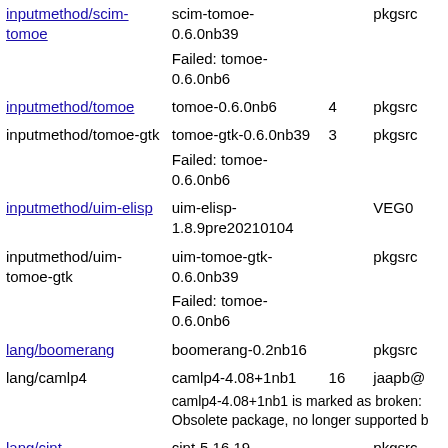| Package | Version | Count | Source |
| --- | --- | --- | --- |
| inputmethod/scim-tomoe | scim-tomoe-0.6.0nb39 |  | pkgsrc |
|  | Failed: tomoe-0.6.0nb6 |  |  |
| inputmethod/tomoe | tomoe-0.6.0nb6 | 4 | pkgsrc |
| inputmethod/tomoe-gtk | tomoe-gtk-0.6.0nb39 | 3 | pkgsrc |
|  | Failed: tomoe-0.6.0nb6 |  |  |
| inputmethod/uim-elisp | uim-elisp-1.8.9pre20210104 |  | VEG0 |
| inputmethod/uim-tomoe-gtk | uim-tomoe-gtk-0.6.0nb39 |  | pkgsrc |
|  | Failed: tomoe-0.6.0nb6 |  |  |
| lang/boomerang | boomerang-0.2nb16 |  | pkgsrc |
| lang/camlp4 | camlp4-4.08+1nb1 | 16 | jaapb@ |
|  | camlp4-4.08+1nb1 is marked as broken: Obsolete package, no longer supported b |  |  |
| lang/cint | cint-5.16.19 |  | pkgsrc |
| lang/cparser | cparser-0.9.14 |  | pkgsrc |